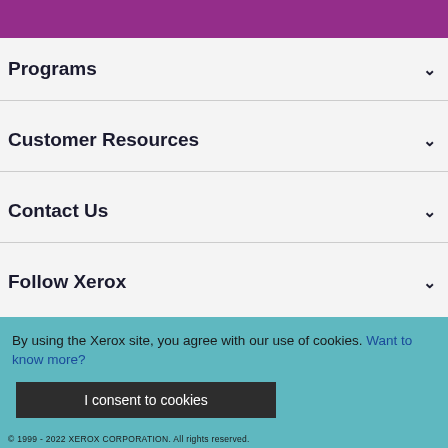Programs
Customer Resources
Contact Us
Follow Xerox
By using the Xerox site, you agree with our use of cookies. Want to know more?
I consent to cookies
© 1999 - 2022 XEROX CORPORATION. All rights reserved.